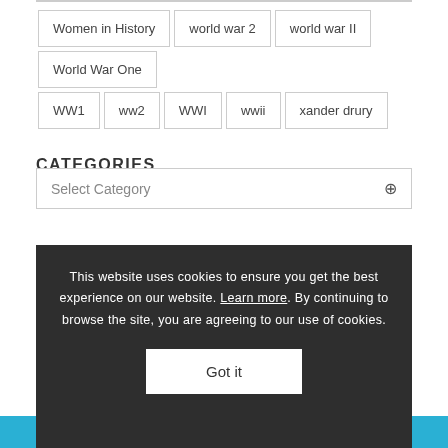Women in History
world war 2
world war II
World War One
WW1
ww2
WWI
wwii
xander drury
CATEGORIES
Select Category
This website uses cookies to ensure you get the best experience on our website. Learn more. By continuing to browse the site, you are agreeing to our use of cookies.
Got it
Search